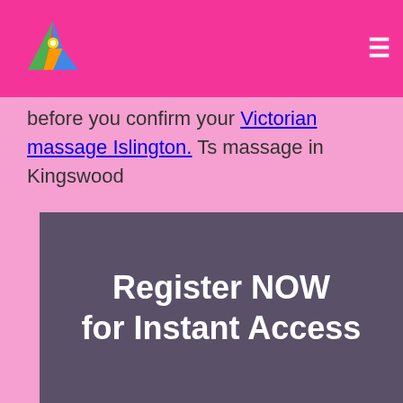[Figure (logo): Triangular logo icon with colorful segments on pink navigation bar]
before you confirm your Victorian massage Islington. Ts massage in Kingswood
[Figure (infographic): Dark purple/grey banner with large white bold text reading 'Register NOW for Instant Access']